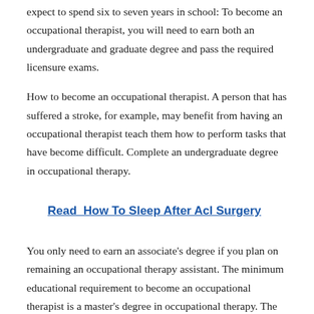expect to spend six to seven years in school: To become an occupational therapist, you will need to earn both an undergraduate and graduate degree and pass the required licensure exams.
How to become an occupational therapist. A person that has suffered a stroke, for example, may benefit from having an occupational therapist teach them how to perform tasks that have become difficult. Complete an undergraduate degree in occupational therapy.
Read  How To Sleep After Acl Surgery
You only need to earn an associate's degree if you plan on remaining an occupational therapy assistant. The minimum educational requirement to become an occupational therapist is a master's degree in occupational therapy. The first step to becoming a successful therapist is to attain a bachelor's degree or